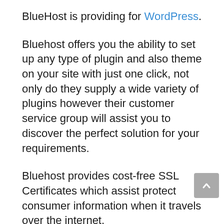BlueHost is providing for WordPress.
Bluehost offers you the ability to set up any type of plugin and also theme on your site with just one click, not only do they supply a wide variety of plugins however their customer service group will assist you to discover the perfect solution for your requirements.
Bluehost provides cost-free SSL Certificates which assist protect consumer information when it travels over the internet.
And since Bluehost uses Let’s Encrypt, the certificates are immediately restored every three months by default making upkeep simple.